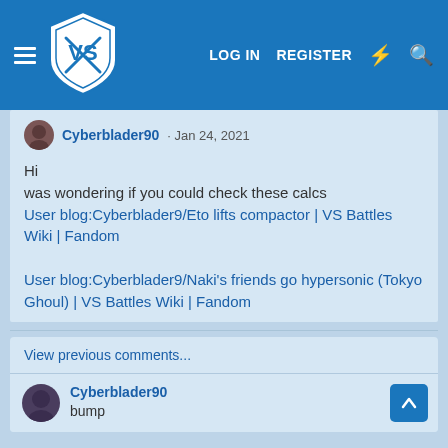[Figure (logo): VS Battles Wiki logo — a blue shield with crossed swords and 'VS' text]
LOG IN   REGISTER
Cyberblader90 · Jan 24, 2021
Hi
was wondering if you could check these calcs
User blog:Cyberblader9/Eto lifts compactor | VS Battles Wiki | Fandom

User blog:Cyberblader9/Naki's friends go hypersonic (Tokyo Ghoul) | VS Battles Wiki | Fandom
View previous comments...
Cyberblader90
bump